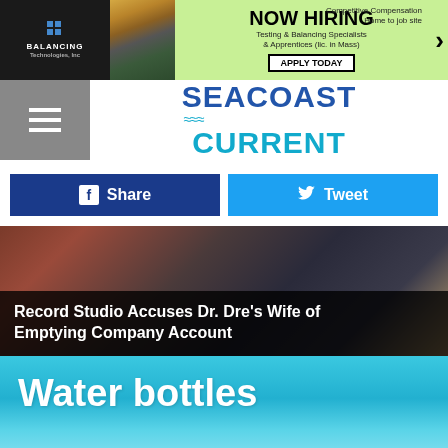[Figure (screenshot): Advertisement banner for Balancing Technologies Inc - Now Hiring Testing & Balancing Specialists & Apprentices (lic. in Mass). Competitive Compensation Home to job site. Apply Today button.]
[Figure (logo): Seacoast Current website logo with wave icon]
[Figure (screenshot): Social share buttons: Facebook Share (dark blue) and Twitter Tweet (light blue)]
[Figure (screenshot): News article preview image with dark overlay text: Record Studio Accuses Dr. Dre's Wife of Emptying Company Account]
[Figure (photo): Water bottles section header with cyan/teal ocean background photo featuring a woman with binoculars looking out to sea]